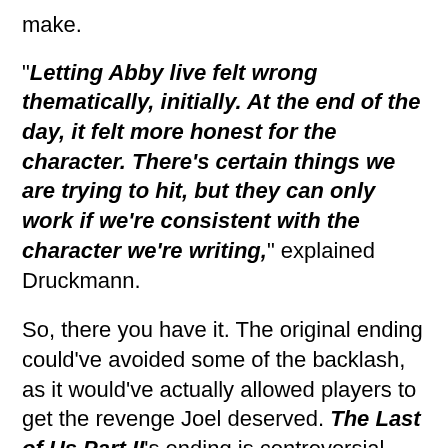make.
"Letting Abby live felt wrong thematically, initially. At the end of the day, it felt more honest for the character. There’s certain things we are trying to hit, but they can only work if we're consistent with the character we're writing," explained Druckmann.
So, there you have it. The original ending could've avoided some of the backlash, as it would've actually allowed players to get the revenge Joel deserved. The Last of Us Part II's ending is controversial because it isn't satisfying, but Joel's death is the biggest offender here; it isn't even about his death, but how he died what had fans up in arms, and no ending could've fixed that.